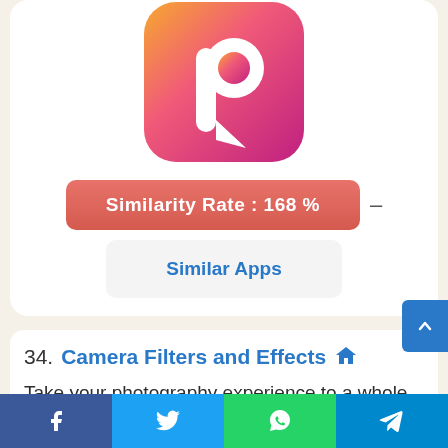[Figure (logo): App icon with gradient pink/orange background and white 'p' cursor logo]
Similarity Rate : 168 %
Similar Apps
34. Camera Filters and Effects
Take your photography experience to a whole new level with Camera Filters and Effects – Lomography App. Improving the quality of your